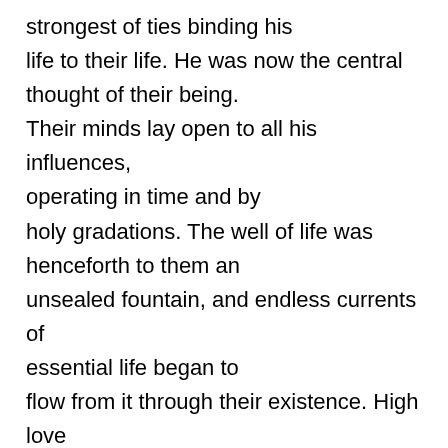strongest of ties binding his life to their life. He was now the central thought of their being. Their minds lay open to all his influences, operating in time and by holy gradations. The well of life was henceforth to them an unsealed fountain, and endless currents of essential life began to flow from it through their existence. High love urging gratitude awoke the conscience to intenser life; and the healed began to recoil from evil deeds and vile thoughts as jarring with the new friendship. Mere acquaintance with a good